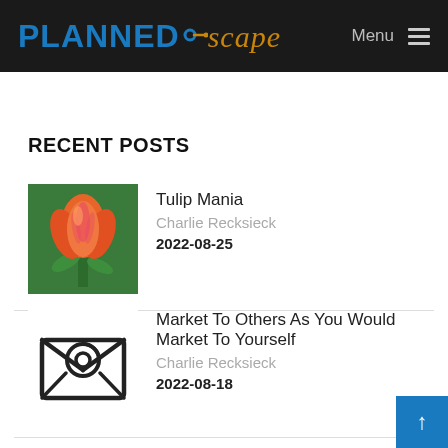PLANNEDscape | Menu
RECENT POSTS
[Figure (photo): Colorful orange and pink tulip flower close-up]
Tulip Mania
Charlie Recksieck
2022-08-25
[Figure (illustration): Envelope icon with @ symbol, representing email]
Market To Others As You Would Market To Yourself
Charlie Recksieck
2022-08-18